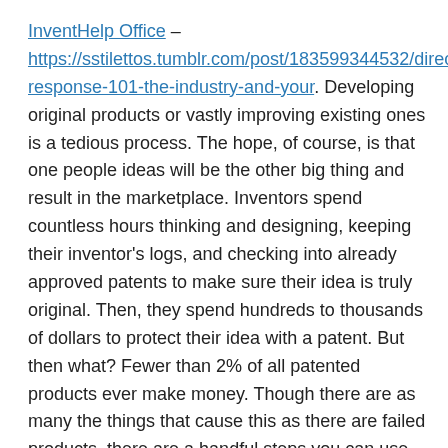InventHelp Office – https://sstilettos.tumblr.com/post/183599344532/direct-response-101-the-industry-and-your. Developing original products or vastly improving existing ones is a tedious process. The hope, of course, is that one people ideas will be the other big thing and result in the marketplace. Inventors spend countless hours thinking and designing, keeping their inventor's logs, and checking into already approved patents to make sure their idea is truly original. Then, they spend hundreds to thousands of dollars to protect their idea with a patent. But then what? Fewer than 2% of all patented products ever make money. Though there are as many the things that cause this as there are failed products, there are a handful steps you can use to improve the odds that your product will succeed the actual marketplace.
Manufacturing and Distribution